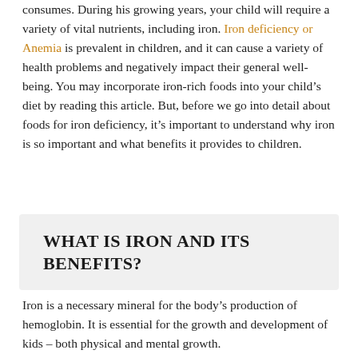consumes. During his growing years, your child will require a variety of vital nutrients, including iron. Iron deficiency or Anemia is prevalent in children, and it can cause a variety of health problems and negatively impact their general well-being. You may incorporate iron-rich foods into your child's diet by reading this article. But, before we go into detail about foods for iron deficiency, it's important to understand why iron is so important and what benefits it provides to children.
WHAT IS IRON AND ITS BENEFITS?
Iron is a necessary mineral for the body's production of hemoglobin. It is essential for the growth and development of kids – both physical and mental growth.